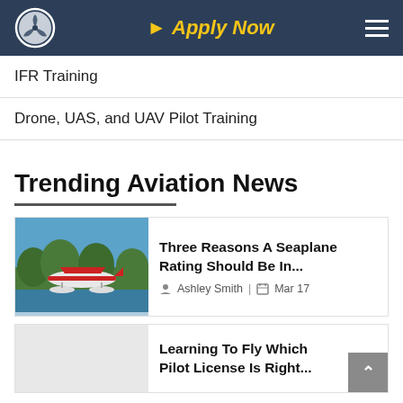Apply Now
IFR Training
Drone, UAS, and UAV Pilot Training
Trending Aviation News
Three Reasons A Seaplane Rating Should Be In...
Ashley Smith | Mar 17
Learning To Fly Which Pilot License Is Right...